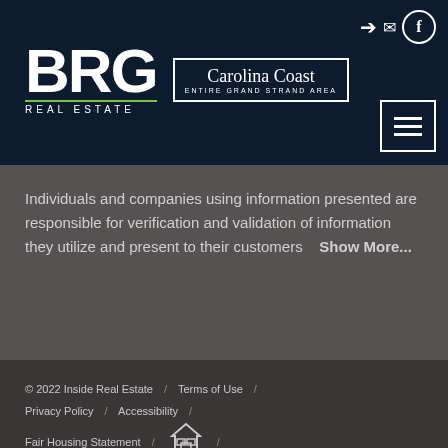BRG Real Estate — Carolina Coast — Entire Grand Strand Area
Individuals and companies using information presented are responsible for verification and validation of information they utilize and present to their customers   Show More...
© 2022 Inside Real Estate / Terms of Use / Privacy Policy / Accessibility / Fair Housing Statement / [Equal Housing Opportunity logo] / Select Language